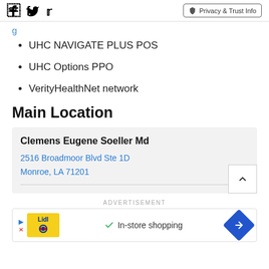Social icons (Facebook, Twitter) | Privacy & Trust Info button
UHC NAVIGATE PLUS POS
UHC Options PPO
VerityHealthNet network
Main Location
Clemens Eugene Soeller Md
2516 Broadmoor Blvd Ste 1D
Monroe, LA 71201
ADVERTISEMENT
[Figure (other): Advertisement banner showing Lidl logo with text 'In-store shopping' and navigation arrow icon]